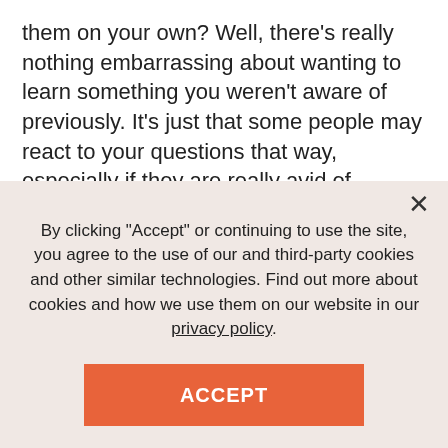them on your own? Well, there's really nothing embarrassing about wanting to learn something you weren't aware of previously. It's just that some people may react to your questions that way, especially if they are really avid of anything coffee-related.
So, say you enjoy espresso quite often but haven't given much thought to what it really is. Confessing that to a coffee connoisseur may be taken as an insult to their religion. Think twice before you do that, but with this all
By clicking "Accept" or continuing to use the site, you agree to the use of our and third-party cookies and other similar technologies. Find out more about cookies and how we use them on our website in our privacy policy.